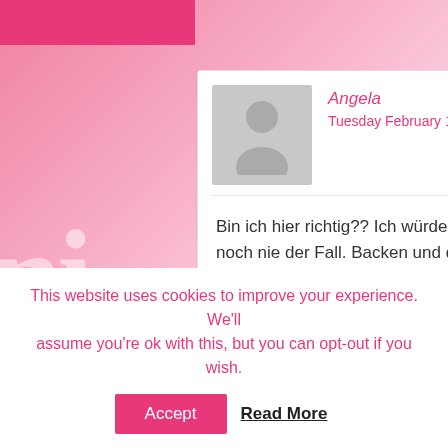Angela
Tuesday February 19th, 2013 at 05:15
Bin ich hier richtig?? Ich würde auch mal gerne was gewinnen, denn dies war bisher noch nie der Fall. Backen und dekorieren gehören seit einigen Jahren zu meinen Hobbys, aber man kann nie genug lernen. Ich würde mich so sehr über eine Ausgabe freuen :-) LG Angela
Heine Sabine
Tuesday February 19th, 2013 at 08:06
Ich würde gern ein Magazin gewinnen...
This website uses cookies to improve your experience. We'll assume you're ok with this, but you can opt-out if you wish.